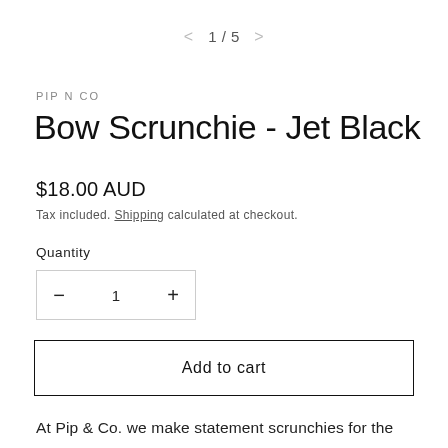< 1 / 5 >
PIP N CO
Bow Scrunchie - Jet Black
$18.00 AUD
Tax included. Shipping calculated at checkout.
Quantity
— 1 +
Add to cart
At Pip & Co. we make statement scrunchies for the iconic messy bun... Our goal is to help women feel empowered and glamorous even though (lets be honest) we haven't washed